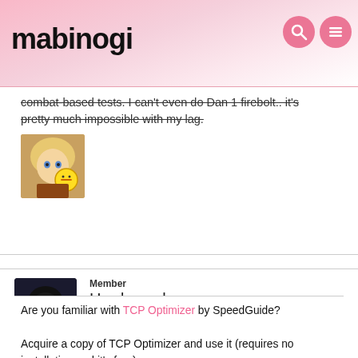mabinogi
combat-based tests. I can't even do Dan 1 firebolt.. it's pretty much impossible with my lag.
[Figure (photo): User avatar showing anime girl with blonde hair]
Member
Hardmuscle
Mabinogi Rep: 13,135
Posts: 2,554
FEBRUARY 9, 2018  EDITED FEBRUARY 14, 2018
Are you familiar with TCP Optimizer by SpeedGuide?

Acquire a copy of TCP Optimizer and use it (requires no installation and it's free). ~ ↑
Simply run it, choose Optimal on the bottom row of